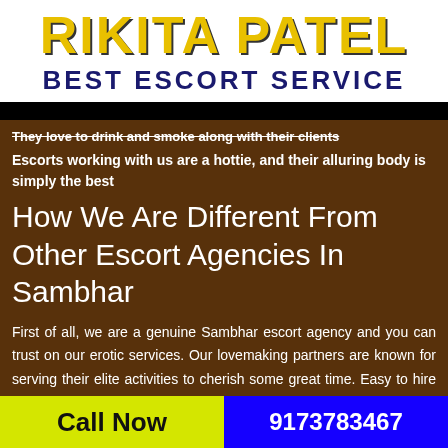RIKITA PATEL BEST ESCORT SERVICE
They love to drink and smoke along with their clients
Escorts working with us are a hottie, and their alluring body is simply the best
How We Are Different From Other Escort Agencies In Sambhar
First of all, we are a genuine Sambhar escort agency and you can trust on our erotic services. Our lovemaking partners are known for serving their elite activities to cherish some great time. Easy to hire adult dating partners are ready to relish some unforgettable memories. Get in touch with these individuals and fulfill your
Call Now  9173783467